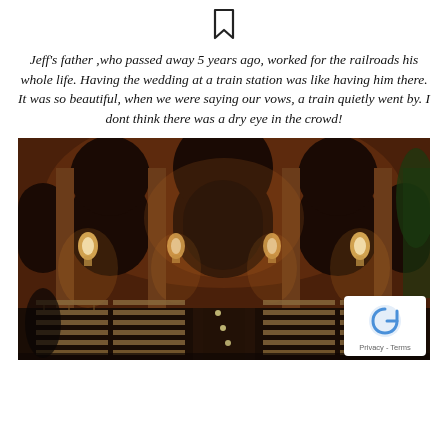[Figure (other): Bookmark or ribbon icon at top center]
Jeff's father ,who passed away 5 years ago, worked for the railroads his whole life. Having the wedding at a train station was like having him there. It was so beautiful, when we were saying our vows, a train quietly went by. I dont think there was a dry eye in the crowd!
[Figure (photo): Interior of a grand train station set up for a wedding ceremony, with arched windows, warm amber lighting, rows of wooden chairs flanking a center aisle, ornate stone columns, and large dark wooden doors in the background.]